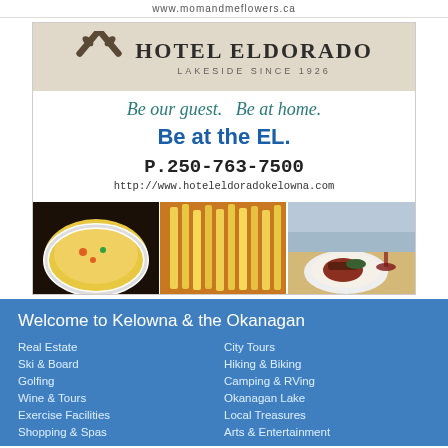www.momandmeflowers.ca
[Figure (illustration): Hotel Eldorado advertisement with crossed oars logo, taglines 'Be our guest. Be at home. Be at the EL.', phone P.250-763-7500, website http://www.hoteleldoradokelowna.com, and three food photos]
Welcome to Kelowna & the Okanagan
Real Estate
Ski & Board
Golfing
Wine & Tours
Exercise Facilities
Shopping & Spas
City Tours
Hiking & Biking
Camping & RVing
Okanagan Lake
Local Treasures
Arts & Entertainment